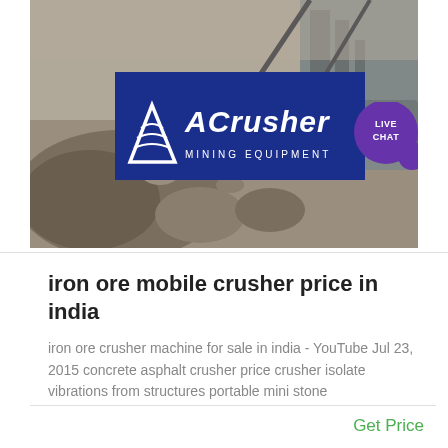[Figure (photo): Mining equipment site with rock piles and machinery, overlaid with ACrusher Mining Equipment logo banner and a Live Chat bubble in the top-right corner]
iron ore mobile crusher price in india
iron ore crusher machine for sale in india - YouTube Jul 23, 2015 concrete asphalt crusher price crusher isolate vibrations from structures portable mini stone
Get Price